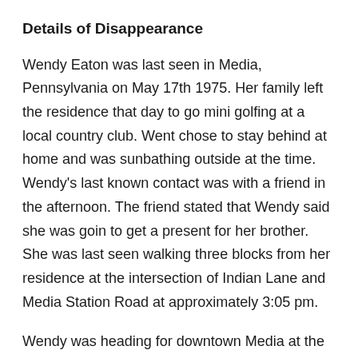Details of Disappearance
Wendy Eaton was last seen in Media, Pennsylvania on May 17th 1975. Her family left the residence that day to go mini golfing at a local country club. Went chose to stay behind at home and was sunbathing outside at the time. Wendy’s last known contact was with a friend in the afternoon. The friend stated that Wendy said she was goin to get a present for her brother. She was last seen walking three blocks from her residence at the intersection of Indian Lane and Media Station Road at approximately 3:05 pm.
Wendy was heading for downtown Media at the time of her disappearance. She was never seen or heard from again. She was reported missing later on and blood hounds were used to search for her. They were able to trace her scent to the intersection where she was seen